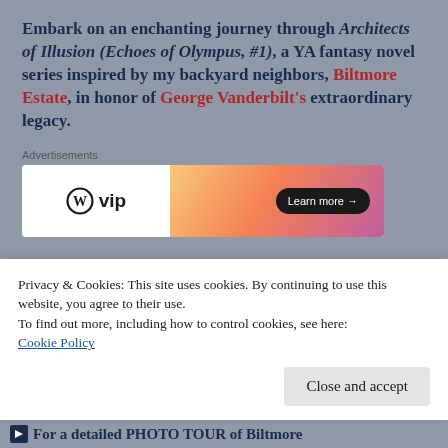Embark on an enchanting journey through Architects of Illusion (Echoes of Olympus, #1), a YA fantasy novel series inspired by my backyard neighbors, Biltmore Estate, in honor of George Vanderbilt's extraordinary legacy.
[Figure (other): WordPress VIP advertisement banner with gradient orange/pink background and 'Learn more →' button]
Join me, and a cast of brilliant film composers,
Privacy & Cookies: This site uses cookies. By continuing to use this website, you agree to their use.
To find out more, including how to control cookies, see here:
Cookie Policy
Close and accept
For a detailed PHOTO TOUR of Biltmore